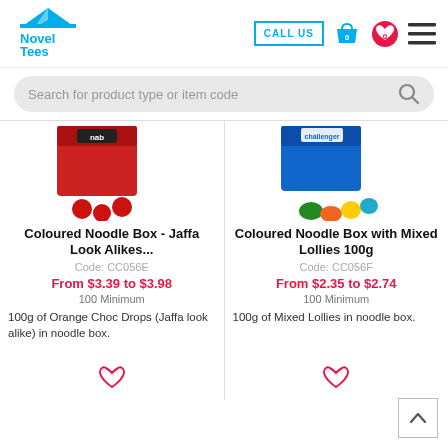[Figure (logo): Novel Tees logo with circus tent graphic in blue, text 'Novel Tees' in blue]
[Figure (screenshot): Header navigation with CALL US button, shopping bag icon with 0, heart icon with 0, hamburger menu]
[Figure (screenshot): Search bar with placeholder text 'Search for product type or item code' and search icon]
[Figure (photo): Coloured Noodle Box with Jaffa Look Alikes - red box with nab branding and red chocolate balls]
Coloured Noodle Box - Jaffa Look Alikes...
Code: CC056E
From $3.39 to $3.98
100 Minimum
100g of Orange Choc Drops (Jaffa look alike) in noodle box.
[Figure (photo): Coloured Noodle Box with Mixed Lollies - blue box with challenger branding and coloured lollies]
Coloured Noodle Box with Mixed Lollies 100g
Code: CC056F
From $2.35 to $2.74
100 Minimum
100g of Mixed Lollies in noodle box.